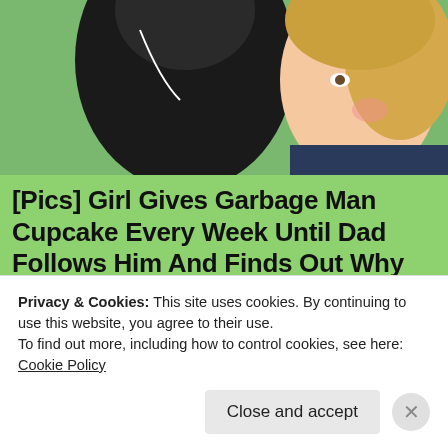[Figure (photo): Top photo showing a close-up of a man and a young girl with blonde hair outdoors on a green background]
[Pics] Girl Gives Garbage Man Cupcake Every Week Until Dad Follows Him And Finds Out Why
HealthyGem
[Figure (photo): Thumbnail image of a beach with blue sky, ocean waves, and sandy shore]
Humanoid 'aliens' washes up on Australian beaches – Can you believe it?
Washington Examiner
Privacy & Cookies: This site uses cookies. By continuing to use this website, you agree to their use.
To find out more, including how to control cookies, see here: Cookie Policy
Close and accept